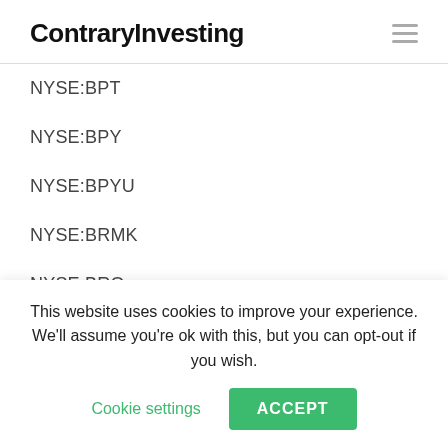ContraryInvesting
NYSE:BPT
NYSE:BPY
NYSE:BPYU
NYSE:BRMK
NYSE:BRO
NYSE:BRW
NYSE:BRX
NYSE:BST
NYSE:BSTZ
This website uses cookies to improve your experience. We'll assume you're ok with this, but you can opt-out if you wish. Cookie settings ACCEPT